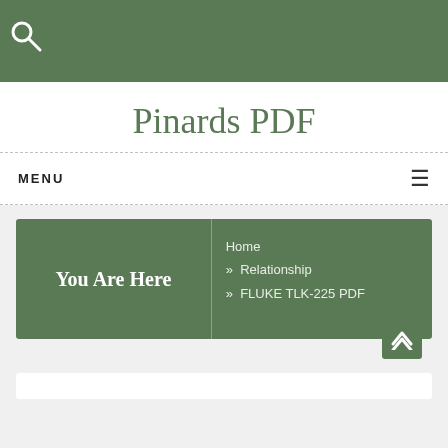[Figure (logo): Green header bar with white search/magnifying glass icon in top-left corner]
Pinards PDF
MENU
You Are Here  Home » Relationship » FLUKE TLK-225 PDF